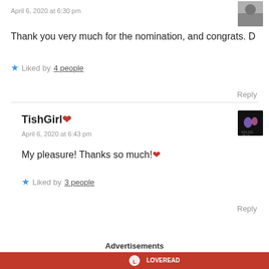April 6, 2020 at 6:30 pm
Thank you very much for the nomination, and congrats. D
Liked by 4 people
Reply
TishGirl❤
April 6, 2020 at 6:43 pm
My pleasure! Thanks so much!❤
Liked by 3 people
Reply
Advertisements